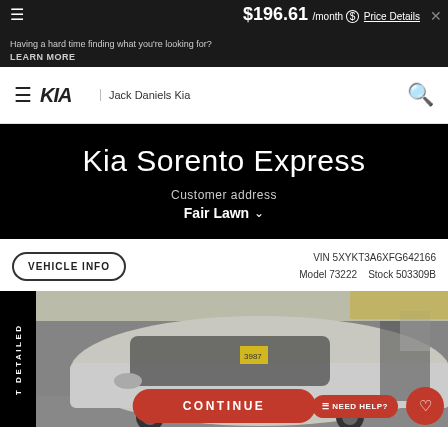$196.61 /month Price Details
Having a hard time finding what you're looking for? LEARN MORE
[Figure (logo): KIA logo with 'Jack Daniels Kia' dealer name]
Kia Sorento Express
Customer address
Fair Lawn
VEHICLE INFO
VIN 5XYKT3A6XFG642166
Model 73222    Stock 503309B
[Figure (photo): Photo of a silver Kia Sorento in a dealership garage with 'T DETAILED' tag on the left side]
CONTINUE
NEED HELP?